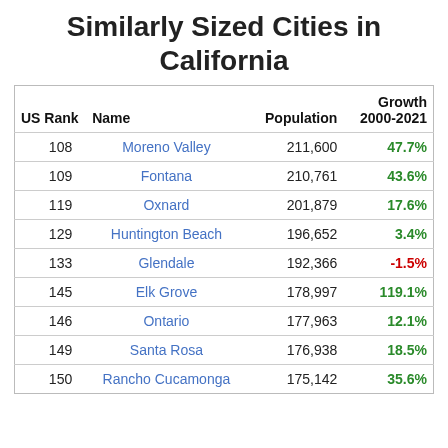Similarly Sized Cities in California
| US Rank | Name | Population | Growth 2000-2021 |
| --- | --- | --- | --- |
| 108 | Moreno Valley | 211,600 | 47.7% |
| 109 | Fontana | 210,761 | 43.6% |
| 119 | Oxnard | 201,879 | 17.6% |
| 129 | Huntington Beach | 196,652 | 3.4% |
| 133 | Glendale | 192,366 | -1.5% |
| 145 | Elk Grove | 178,997 | 119.1% |
| 146 | Ontario | 177,963 | 12.1% |
| 149 | Santa Rosa | 176,938 | 18.5% |
| 150 | Rancho Cucamonga | 175,142 | 35.6% |